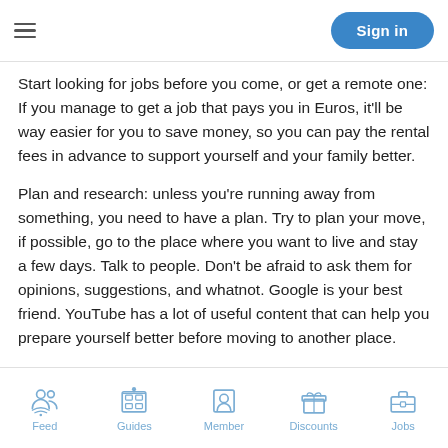Sign in
Start looking for jobs before you come, or get a remote one: If you manage to get a job that pays you in Euros, it'll be way easier for you to save money, so you can pay the rental fees in advance to support yourself and your family better.
Plan and research: unless you're running away from something, you need to have a plan. Try to plan your move, if possible, go to the place where you want to live and stay a few days. Talk to people. Don't be afraid to ask them for opinions, suggestions, and whatnot. Google is your best friend. YouTube has a lot of useful content that can help you prepare yourself better before moving to another place.
Be open-minded: moving to another city or even another
Feed   Guides   Member   Discounts   Jobs